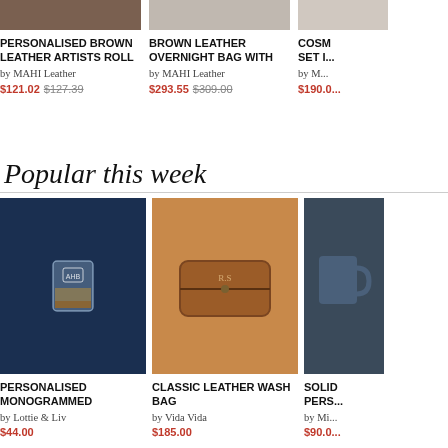[Figure (photo): Top portion of brown leather artist roll product image]
PERSONALISED BROWN LEATHER ARTISTS ROLL
by MAHI Leather
$121.02 $127.39
[Figure (photo): Top portion of brown leather overnight bag product image]
BROWN LEATHER OVERNIGHT BAG WITH
by MAHI Leather
$293.55 $309.00
[Figure (photo): Top portion of cosmetics set product image (partially visible)]
COSM... SET I...
by M...
$190.0...
Popular this week
[Figure (photo): Personalised monogrammed whiskey glass with AHB monogram on dark blue background]
PERSONALISED MONOGRAMMED
by Lottie & Liv
$44.00
[Figure (photo): Classic leather wash bag in brown held by person]
CLASSIC LEATHER WASH BAG
by Vida Vida
$185.00
[Figure (photo): Solid personalised mug product (partially visible)]
SOLID PERS...
by Mi...
$90.00